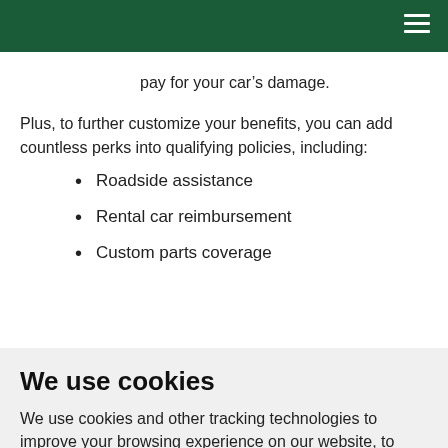pay for your car's damage.
Plus, to further customize your benefits, you can add countless perks into qualifying policies, including:
Roadside assistance
Rental car reimbursement
Custom parts coverage
We use cookies
We use cookies and other tracking technologies to improve your browsing experience on our website, to show you personalized content and targeted ads, to analyze our website traffic, and to understand where our visitors are coming from.